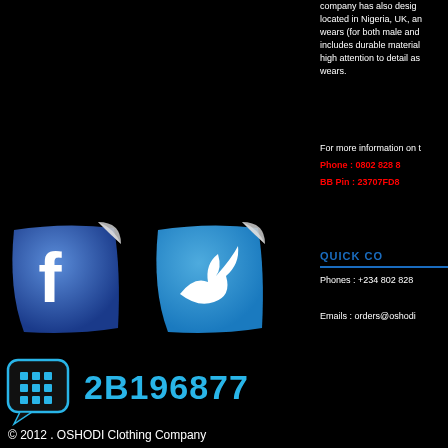company has also designed located in Nigeria, UK, and wears (for both male and females) includes durable materials with high attention to detail as custom wears.
For more information on this:
Phone : 0802 828 8...
BB Pin : 23707FD8...
QUICK CONTACT
Phones : +234 802 828 ...
Emails : orders@oshodi...
[Figure (logo): Facebook sticker icon - blue shield shape with white 'f' logo, peeling sticker effect]
[Figure (logo): Twitter sticker icon - blue shield shape with white bird logo, peeling sticker effect]
[Figure (logo): BlackBerry Messenger icon - black speech bubble with BB grid logo]
2B196877
© 2012 . OSHODI Clothing Company